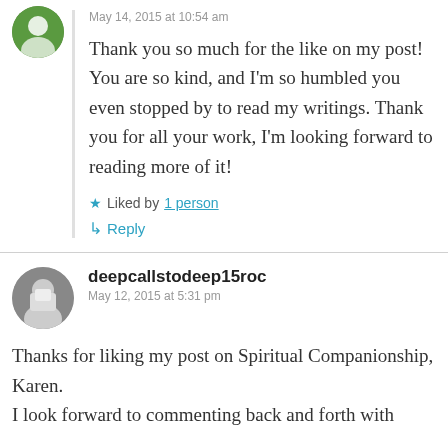May 14, 2015 at 10:54 am
Thank you so much for the like on my post! You are so kind, and I'm so humbled you even stopped by to read my writings. Thank you for all your work, I'm looking forward to reading more of it!
Liked by 1 person
Reply
deepcallstodeep15roc
May 12, 2015 at 5:31 pm
Thanks for liking my post on Spiritual Companionship, Karen. I look forward to commenting back and forth with